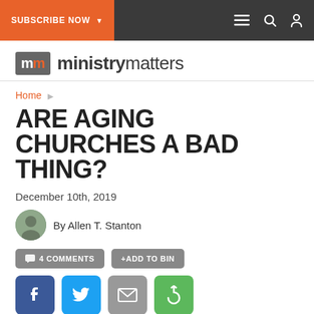SUBSCRIBE NOW | Ministry Matters navigation bar
[Figure (logo): Ministry Matters logo - mm icon in grey box followed by ministry matters text]
Home ▶
ARE AGING CHURCHES A BAD THING?
December 10th, 2019
By Allen T. Stanton
💬 4 COMMENTS   +ADD TO BIN
[Figure (screenshot): Social sharing icons: Facebook (blue), Twitter (light blue), Email (grey), Share/recycle (green)]
[Figure (photo): Partial photo of two elderly people, one with grey hair seen from behind, another wearing glasses, with a cross visible in the background]